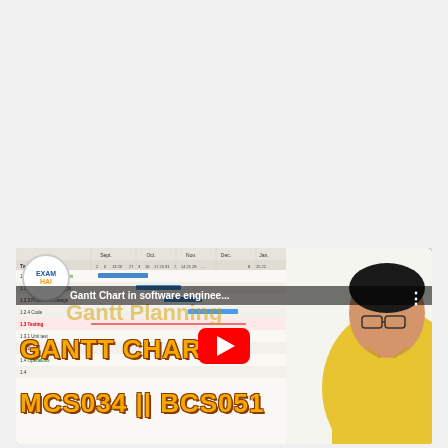[Figure (screenshot): YouTube video thumbnail showing a Gantt chart in software engineering tutorial. Left side shows a Gantt chart with tasks like Requirements analysis, Architectural Design, Procedural Design, Code, Testing, Unit test, Operations. Right side shows an instructor in a yellow shirt. Overlay text reads 'GANTT CHART' and 'MCS034 || BCS051'. YouTube play button visible in center. ExamHai logo in top-left corner. Video title: 'Gantt Chart in software enginee...']